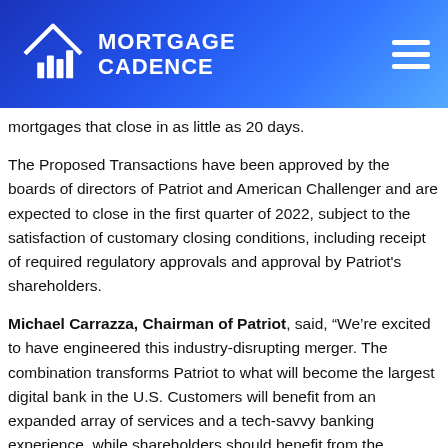MORTGAGE CADENCE
mortgages that close in as little as 20 days.
The Proposed Transactions have been approved by the boards of directors of Patriot and American Challenger and are expected to close in the first quarter of 2022, subject to the satisfaction of customary closing conditions, including receipt of required regulatory approvals and approval by Patriot's shareholders.
Michael Carrazza, Chairman of Patriot, said, “We’re excited to have engineered this industry-disrupting merger. The combination transforms Patriot to what will become the largest digital bank in the U.S. Customers will benefit from an expanded array of services and a tech-savvy banking experience, while shareholders should benefit from the